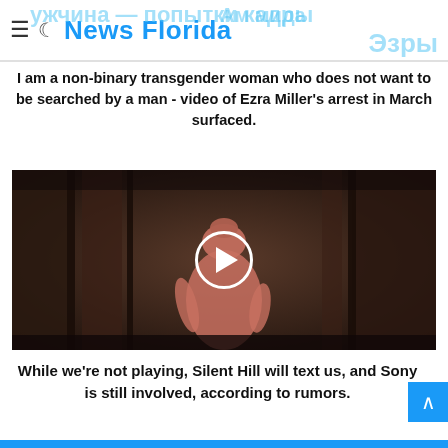News Florida
I am a non-binary transgender woman who does not want to be searched by a man - video of Ezra Miller's arrest in March surfaced.
[Figure (screenshot): Video thumbnail showing a Silent Hill game scene with a nurse-like creature in a dark corridor, overlaid with a white circle play button.]
While we're not playing, Silent Hill will text us, and Sony is still involved, according to rumors.